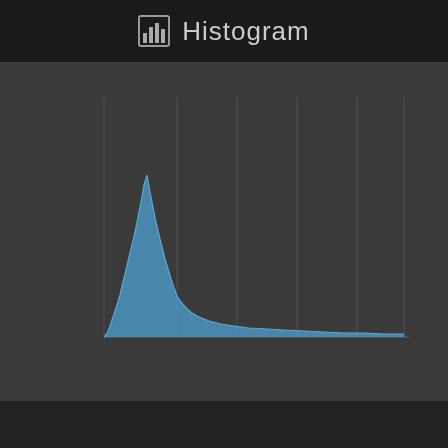Histogram
[Figure (continuous-plot): Right-skewed histogram with a steep peak near the left side, tapering off to the right. The distribution is shown as a filled blue area chart on a dark grey background with vertical grey gridlines.]
© 2010-2022 Salvatore Iovene
Home / Facebook / Instagram / Twitter / Back to top